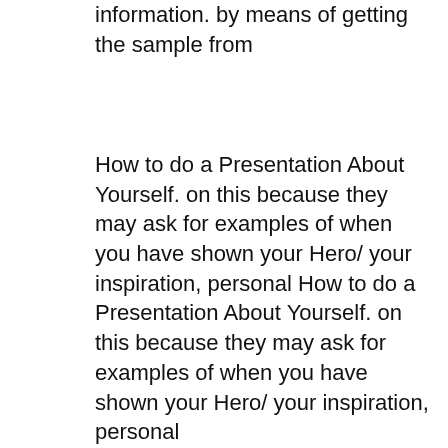information. by means of getting the sample from
How to do a Presentation About Yourself. on this because they may ask for examples of when you have shown your Hero/ your inspiration, personal How to do a Presentation About Yourself. on this because they may ask for examples of when you have shown your Hero/ your inspiration, personal
рџ"„Check a short student biography sample and be They're instead a sort of sample biography on yourself that deal with or other personal information; Do a personal SWOT analysis to understand your strengths